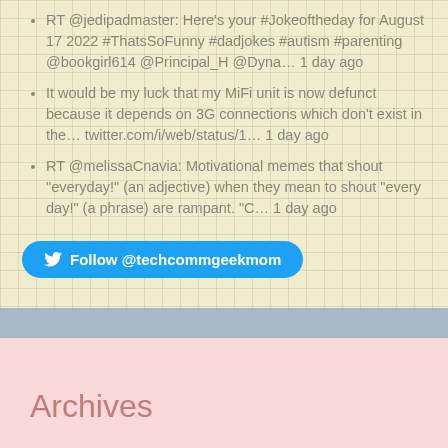RT @jedipadmaster: Here's your #Jokeoftheday for August 17 2022 #ThatsSoFunny #dadjokes #autism #parenting @bookgirl614 @Principal_H @Dyna… 1 day ago
It would be my luck that my MiFi unit is now defunct because it depends on 3G connections which don't exist in the… twitter.com/i/web/status/1… 1 day ago
RT @melissaCnavia: Motivational memes that shout "everyday!" (an adjective) when they mean to shout "every day!" (a phrase) are rampant. "C… 1 day ago
Follow @techcommgeekmom
Archives